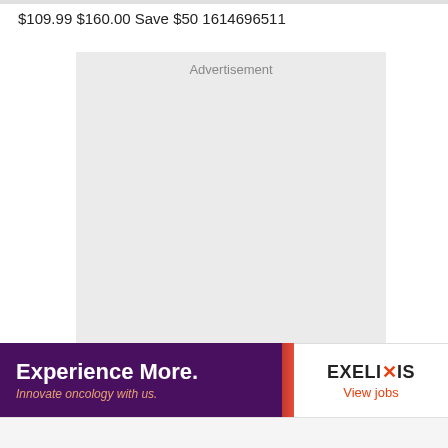$109.99 $160.00 Save $50 1614696511
[Figure (other): Advertisement placeholder box with light gray background and 'Advertisement' label at top]
[Figure (other): Banner advertisement for Exelixis. Left side: dark purple background with orange/red accent stripe, bold white text 'Experience More.' and italic orange text 'Innovate oncology with us.' Right side: white background with 'EXELIXIS' logo (X in orange) and orange 'View jobs' text below.]